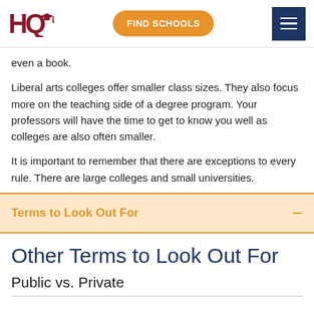HQ | FIND SCHOOLS | [menu]
even a book.
Liberal arts colleges offer smaller class sizes. They also focus more on the teaching side of a degree program. Your professors will have the time to get to know you well as colleges are also often smaller.
It is important to remember that there are exceptions to every rule. There are large colleges and small universities.
Terms to Look Out For
Other Terms to Look Out For
Public vs. Private